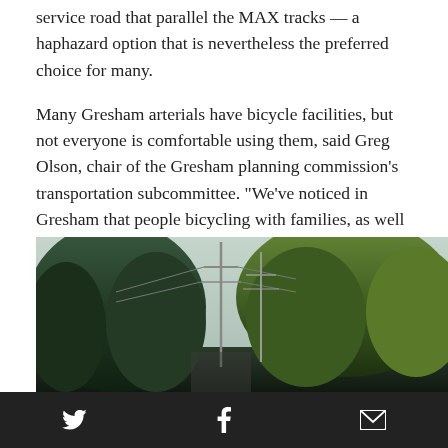service road that parallel the MAX tracks — a haphazard option that is nevertheless the preferred choice for many.
Many Gresham arterials have bicycle facilities, but not everyone is comfortable using them, said Greg Olson, chair of the Gresham planning commission's transportation subcommittee. "We've noticed in Gresham that people bicycling with families, as well as folks commuting through, tend to want to be on sidewalks and paths rather than in our bike lanes," he said.
As soon as next year, Gresham will see a new option that serves those preferences.
[Figure (photo): Outdoor photograph showing power line poles and dense trees along what appears to be a road or path corridor, with a pale sky in the background.]
Twitter | Facebook | Email